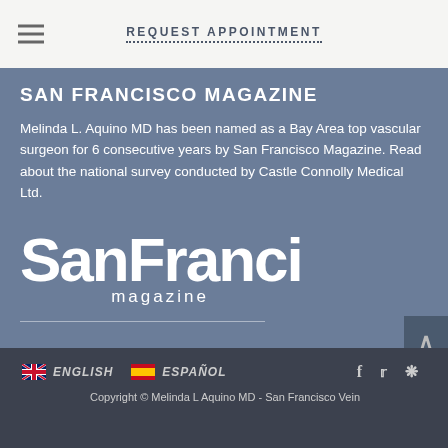REQUEST APPOINTMENT
SAN FRANCISCO MAGAZINE
Melinda L. Aquino MD has been named as a Bay Area top vascular surgeon for 6 consecutive years by San Francisco Magazine. Read about the national survey conducted by Castle Connolly Medical Ltd.
[Figure (logo): San Francisco magazine logo in white text on blue-grey background]
ENGLISH   ESPAÑOL   Copyright © Melinda L Aquino MD - San Francisco Vein